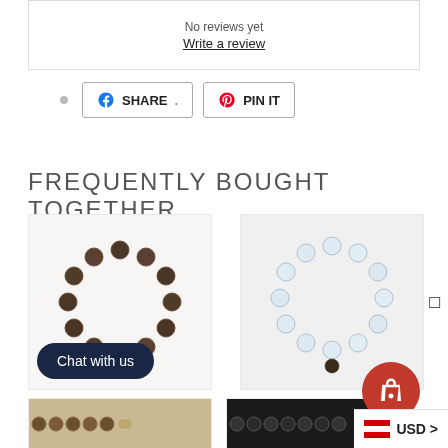No reviews yet
Write a review
SHARE
PIN IT
FREQUENTLY BOUGHT TOGETHER
[Figure (photo): Dark brown smoky quartz beaded bracelet on white background]
[Figure (photo): Clear crystal quartz beaded bracelet with small charm on white background]
Chat with us
USD >